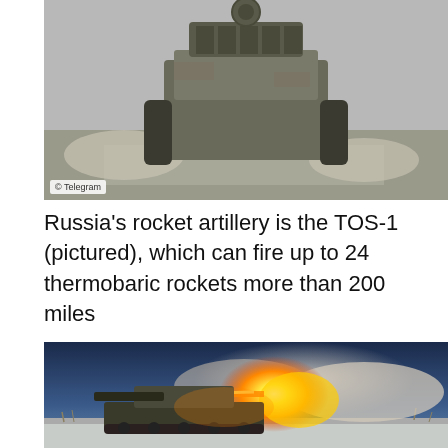[Figure (photo): Military tank (TOS-1) viewed from the front, driving on a dusty road. Telegram watermark visible in lower left corner.]
Russia's rocket artillery is the TOS-1 (pictured), which can fire up to 24 thermobaric rockets more than 200 miles
[Figure (photo): TOS-1 rocket artillery system firing, with large flame and smoke cloud against a winter twilight sky.]